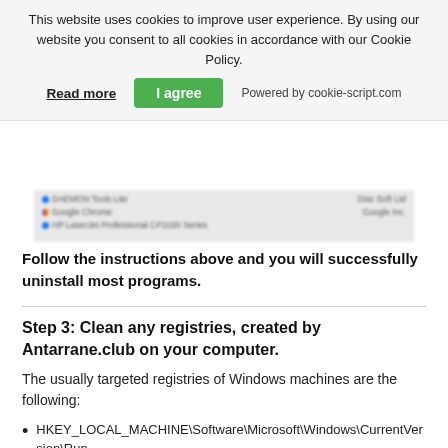This website uses cookies to improve user experience. By using our website you consent to all cookies in accordance with our Cookie Policy.
Read more | I agree | Powered by cookie-script.com
[Figure (screenshot): Blurred screenshot showing a list of installed programs including DAEMON Tools Lite, Google Chrome, and HP LaserJet Professional CP1020 Series]
Follow the instructions above and you will successfully uninstall most programs.
Step 3: Clean any registries, created by Antarrane.club on your computer.
The usually targeted registries of Windows machines are the following:
HKEY_LOCAL_MACHINE\Software\Microsoft\Windows\CurrentVersion\Run
HKEY_CURRENT_USER\Software\Microsoft\Windows\CurrentVersion\Run